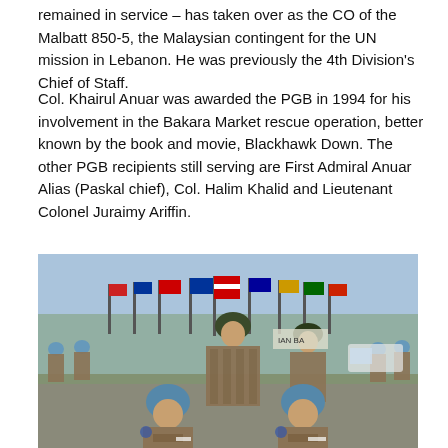remained in service – has taken over as the CO of the Malbatt 850-5, the Malaysian contingent for the UN mission in Lebanon. He was previously the 4th Division's Chief of Staff.
Col. Khairul Anuar was awarded the PGB in 1994 for his involvement in the Bakara Market rescue operation, better known by the book and movie, Blackhawk Down. The other PGB recipients still serving are First Admiral Anuar Alias (Paskal chief), Col. Halim Khalid and Lieutenant Colonel Juraimy Ariffin.
[Figure (photo): Military personnel in camouflage uniforms and blue UN berets standing in formation outdoors, with flags of various nations in the background. Two soldiers in the foreground appear to be signing documents, overseen by a senior officer.]